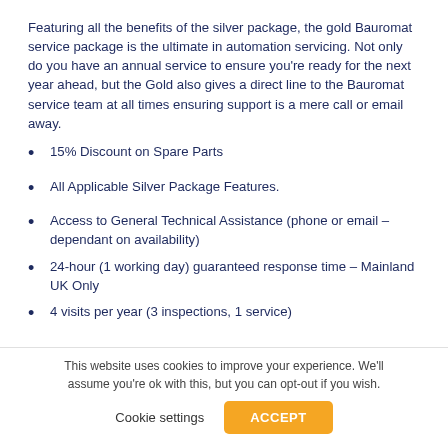Featuring all the benefits of the silver package, the gold Bauromat service package is the ultimate in automation servicing. Not only do you have an annual service to ensure you're ready for the next year ahead, but the Gold also gives a direct line to the Bauromat service team at all times ensuring support is a mere call or email away.
15% Discount on Spare Parts
All Applicable Silver Package Features.
Access to General Technical Assistance (phone or email – dependant on availability)
24-hour (1 working day) guaranteed response time – Mainland UK Only
4 visits per year (3 inspections, 1 service)
This website uses cookies to improve your experience. We'll assume you're ok with this, but you can opt-out if you wish.